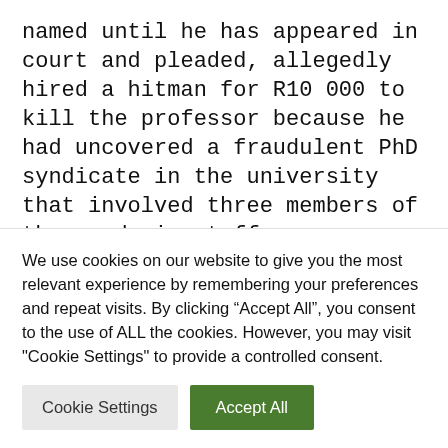named until he has appeared in court and pleaded, allegedly hired a hitman for R10 000 to kill the professor because he had uncovered a fraudulent PhD syndicate in the university that involved three members of the academic staff.
A source close to the investigation, who may not be; named to protect his identity, said the university was; facing a crisis of fraudulent PhD degrees being; granted to students and the academic in question had been;
We use cookies on our website to give you the most relevant experience by remembering your preferences and repeat visits. By clicking “Accept All”, you consent to the use of ALL the cookies. However, you may visit "Cookie Settings" to provide a controlled consent.